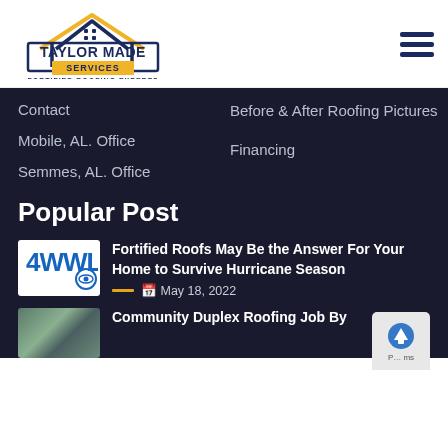[Figure (logo): Taylor Made Services - Fortified Roofing Experts logo with house outline in navy and gold]
[Figure (other): Hamburger menu icon (three horizontal lines)]
Contact
Mobile, AL. Office
Semmes, AL. Office
Before & After Roofing Pictures
Financing
Popular Post
[Figure (logo): 4WWL news logo in blue with CBS eye icon]
Fortified Roofs May Be the Answer For Your Home to Survive Hurricane Season
May 18, 2022
[Figure (photo): Thumbnail image of roofing work]
Community Duplex Roofing Job By